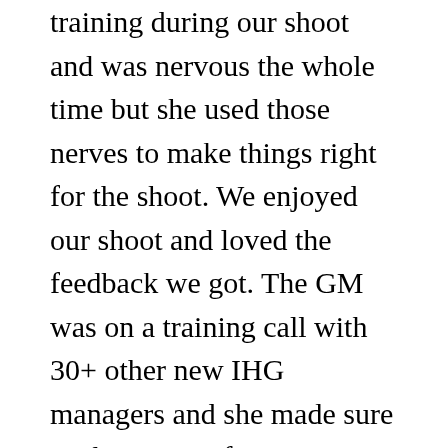training during our shoot and was nervous the whole time but she used those nerves to make things right for the shoot. We enjoyed our shoot and loved the feedback we got. The GM was on a training call with 30+ other new IHG managers and she made sure to share our information with everyone on the call because she said we were so easy to work with. That’s what we call a success!